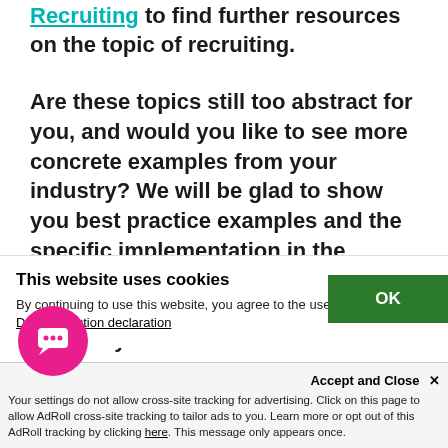Recruiting to find further resources on the topic of recruiting.
Are these topics still too abstract for you, and would you like to see more concrete examples from your industry? We will be glad to show you best practice examples and the specific implementation in the Talention software. Just request a demo here, and someone will contact you
This website uses cookies
By continuing to use this website, you agree to the use of cookies. Data protection declaration
OK
Accept and Close ✕
Your settings do not allow cross-site tracking for advertising. Click on this page to allow AdRoll cross-site tracking to tailor ads to you. Learn more or opt out of this AdRoll tracking by clicking here. This message only appears once.